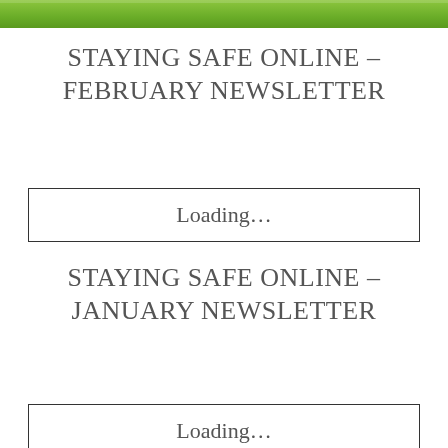[Figure (photo): Green grass/turf photo strip at top of page]
STAYING SAFE ONLINE – FEBRUARY NEWSLETTER
Loading...
STAYING SAFE ONLINE – JANUARY NEWSLETTER
Loading...